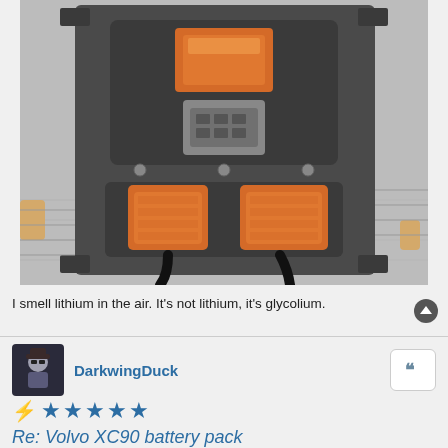[Figure (photo): Top-down view of a Volvo XC90 hybrid battery pack/power electronics unit on a diamond-plate metal surface. The unit is dark grey/black metal with orange high-voltage connectors and cables visible at the bottom. An orange component (relay or fuse box) is visible at the top center.]
I smell lithium in the air. It's not lithium, it's glycolium.
DarkwingDuck
[Figure (other): User avatar thumbnail showing a cartoon/game character in dark colors]
Re: Volvo XC90 battery pack